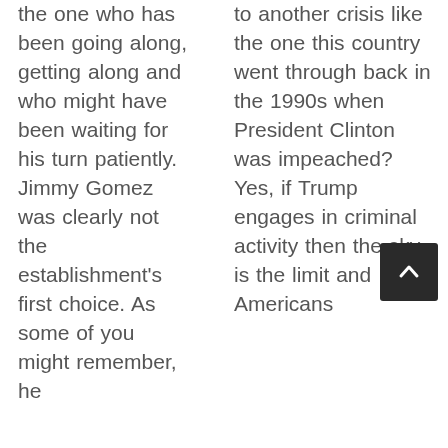the one who has been going along, getting along and who might have been waiting for his turn patiently. Jimmy Gomez was clearly not the establishment's first choice. As some of you might remember, he
to another crisis like the one this country went through back in the 1990s when President Clinton was impeached? Yes, if Trump engages in criminal activity then the sky is the limit and Americans